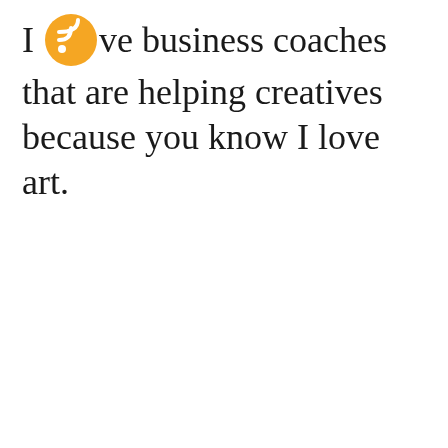I love business coaches that are helping creatives because you know I love art.